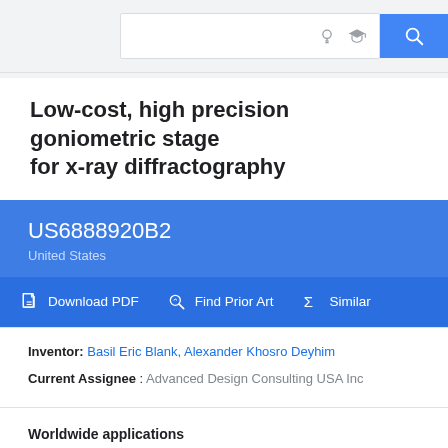[Figure (screenshot): Google Patents search bar with lightbulb icon, graduation cap icon, and blue search button with magnifying glass]
Low-cost, high precision goniometric stage for x-ray diffractography
US6888920B2
United States
Download PDF  Find Prior Art  Similar
Inventor: Basil Eric Blank, Alexander Khosro Deyhim
Current Assignee : Advanced Design Consulting USA Inc
Worldwide applications
2002 · US